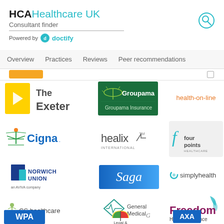HCAHealthcare UK Consultant finder Powered by doctify
Overview   Practices   Reviews   Peer recommendations
[Figure (logo): The Exeter insurance logo - yellow square bracket with play triangle and bold 'The Exeter' text]
[Figure (logo): Groupama insurance logo - green rectangle with white plant/sun motif and Groupama text]
[Figure (logo): health-on-line text logo in orange]
[Figure (logo): Cigna logo with green tree/person icon and blue Cigna text]
[Figure (logo): healix international logo with superscript TM mark]
[Figure (logo): four points healthcare logo in teal on light grey background]
[Figure (logo): Norwich Union an AVIVA company logo - blue square icon with NORWICH UNION text]
[Figure (logo): Saga logo on blue gradient background]
[Figure (logo): simplyhealth logo with swirl icon]
[Figure (logo): CS healthcare logo with tree icon]
[Figure (logo): General Medical logo with diamond/heart motif]
[Figure (logo): Freedom Health Insurance logo with teal leaf icon]
[Figure (logo): WPA logo partially visible at bottom left]
[Figure (logo): Legal & General umbrella logo partially visible at bottom center]
[Figure (logo): AXA logo partially visible at bottom right]